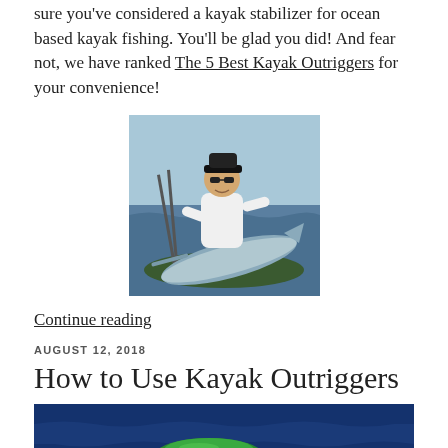sure you've considered a kayak stabilizer for ocean based kayak fishing. You'll be glad you did! And fear not, we have ranked The 5 Best Kayak Outriggers for your convenience!
[Figure (photo): A man on a kayak holding a large fish (swordfish/marlin) with ocean in background]
Continue reading
AUGUST 12, 2018
How to Use Kayak Outriggers
[Figure (photo): Partial photo showing blue water and a green object, likely a kayak or outrigger]